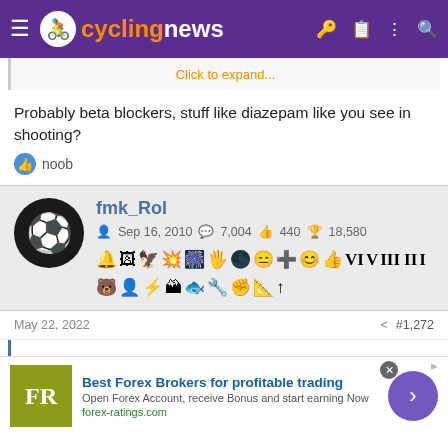cyclingnews
Click to expand...
Probably beta blockers, stuff like diazepam like you see in shooting?
noob
fmk_Rol  Sep 16, 2010  7,004  440  18,580
May 22, 2022  #1,272
Best Forex Brokers for profitable trading  Open Forex Account, receive Bonus and start earning Now  forex-ratings.com